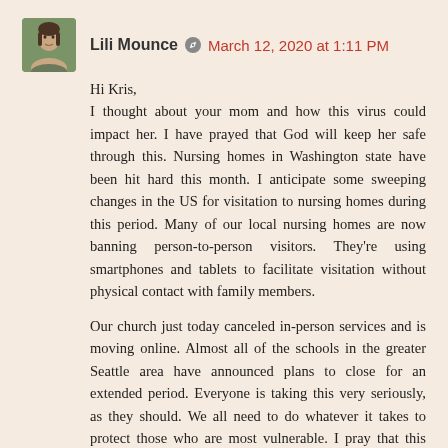[Figure (photo): Small square avatar photo of Lili Mounce, a woman with dark hair]
Lili Mounce · March 12, 2020 at 1:11 PM
Hi Kris,
I thought about your mom and how this virus could impact her. I have prayed that God will keep her safe through this. Nursing homes in Washington state have been hit hard this month. I anticipate some sweeping changes in the US for visitation to nursing homes during this period. Many of our local nursing homes are now banning person-to-person visitors. They're using smartphones and tablets to facilitate visitation without physical contact with family members.
Our church just today canceled in-person services and is moving online. Almost all of the schools in the greater Seattle area have announced plans to close for an extended period. Everyone is taking this very seriously, as they should. We all need to do whatever it takes to protect those who are most vulnerable. I pray that this doesn't reach your town.
Reply